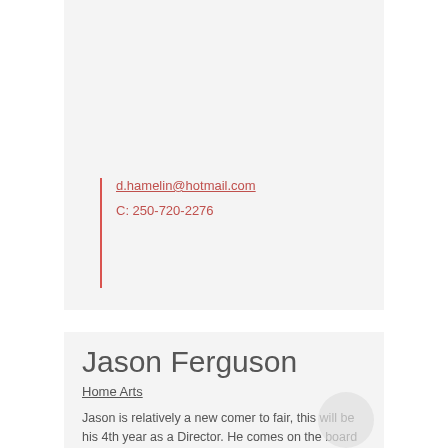d.hamelin@hotmail.com
C: 250-720-2276
Jason Ferguson
Home Arts
Jason is relatively a new comer to fair, this will be his 4th year as a Director. He comes on the board as a